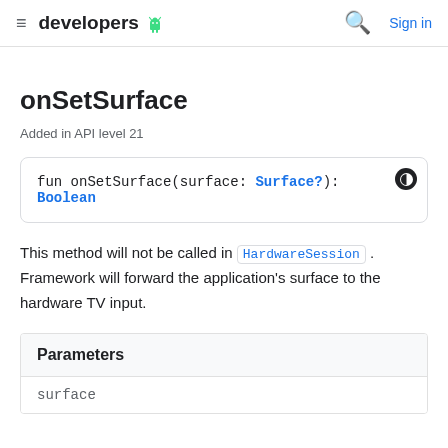developers | Sign in
onSetSurface
Added in API level 21
fun onSetSurface(surface: Surface?): Boolean
This method will not be called in HardwareSession . Framework will forward the application's surface to the hardware TV input.
Parameters
surface